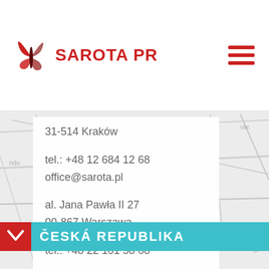[Figure (logo): Sarota PR logo with red butterfly and text 'SAROTA PR']
31-514 Kraków

tel.: +48 12 684 12 68
office@sarota.pl

al. Jana Pawła II 27
00-867 Warszawa

tel.: +48 22 101 58 68
ČESKÁ REPUBLIKA